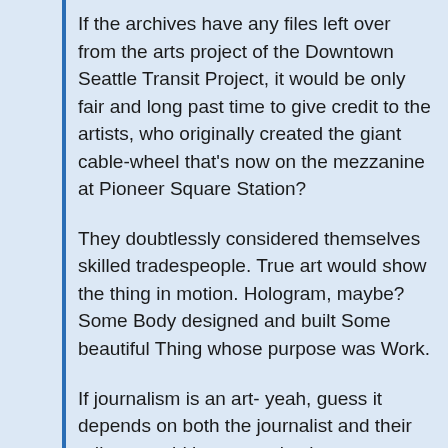If the archives have any files left over from the arts project of the Downtown Seattle Transit Project, it would be only fair and long past time to give credit to the artists, who originally created the giant cable-wheel that's now on the mezzanine at Pioneer Square Station?
They doubtlessly considered themselves skilled tradespeople. True art would show the thing in motion. Hologram, maybe? Some Body designed and built Some beautiful Thing whose purpose was Work.
If journalism is an art- yeah, guess it depends on both the journalist and their editor- would be a massive boost to transit if DNA research could recreate Seattle Times Reporter Bob Lane.